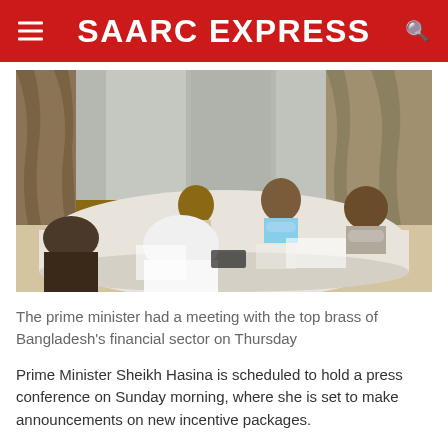SAARC EXPRESS
[Figure (photo): Meeting scene with several people seated around a large white table wearing face masks, in a formal room with wooden furniture and curtains. A woman is seated at the head of the table.]
The prime minister had a meeting with the top brass of Bangladesh's financial sector on Thursday
Prime Minister Sheikh Hasina is scheduled to hold a press conference on Sunday morning, where she is set to make announcements on new incentive packages.
Prime Minister's Press Secretary Ihsanul Karim confirmed it in a statement issued on Thursday, following a high-